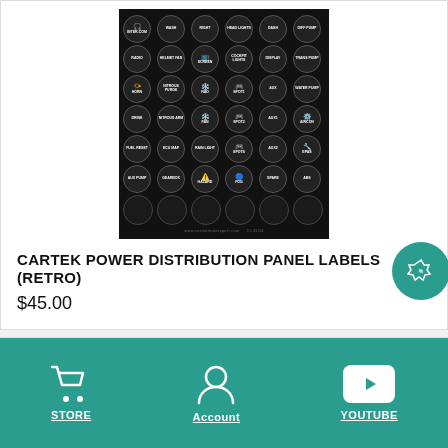[Figure (photo): Black panel label sticker sheet with circular labels showing various car controls: INTERCOM, WASH, RIGHT, HEAD LIGHTS, DASH, DIFF PUMP, RADIO, HELMET FAN, SCREEN, COCKPIT LIGHTS, DISPLAY, TRANS PUMP, HORN, NITROUS PURGE, RAD, SPOT1, AUX, WATER PUMP, DRINK, NITROUS ARM, FAN, SPOT2, AUX1, AIRCON, FUEL RESET, ECU MAP, RAIN LIGHT, SPOTS, AUX2, EPAS, AUX PUMP, GEARBOX, HAZARD, FOG, SPARE, ABS, plus blank circles. Website www.cartekmotorsport.com at bottom.]
CARTEK POWER DISTRIBUTION PANEL LABELS (RETRO)
$45.00